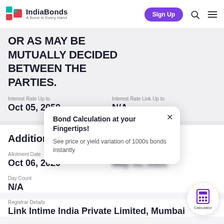IndiaBonds — A Bond in Every Hand
OR AS MAY BE MUTUALLY DECIDED BETWEEN THE PARTIES.
Interest Rate Up to
Oct 05, 2050
Interest Rate Link Up to
N/A
Additional Details
Allotment Date
Oct 06, 2020
First Payment date
(partially obscured)
Day Count
N/A
Bond Calculation at your Fingertips!
See price or yield variation of 1000s bonds instantly
Registrar Details
Link Intime India Private Limited, Mumbai